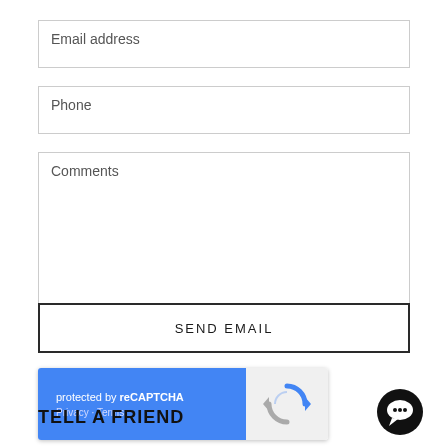Email address
Phone
Comments
[Figure (screenshot): reCAPTCHA widget with blue left panel showing 'protected by reCAPTCHA' text with Privacy and Terms links, and grey right panel with reCAPTCHA logo]
SEND EMAIL
TELL A FRIEND